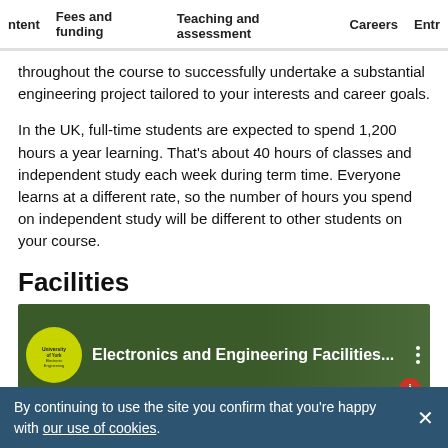ntent  Fees and funding  Teaching and assessment  Careers  Entr
throughout the course to successfully undertake a substantial engineering project tailored to your interests and career goals.
In the UK, full-time students are expected to spend 1,200 hours a year learning. That's about 40 hours of classes and independent study each week during term time. Everyone learns at a different rate, so the number of hours you spend on independent study will be different to other students on your course.
Facilities
[Figure (screenshot): Video thumbnail for 'Electronics and Engineering Facilities...' with University of York Electronic Engineering logo on green background, three-dot menu, and info button.]
By continuing to use the site you confirm that you're happy with our use of cookies.